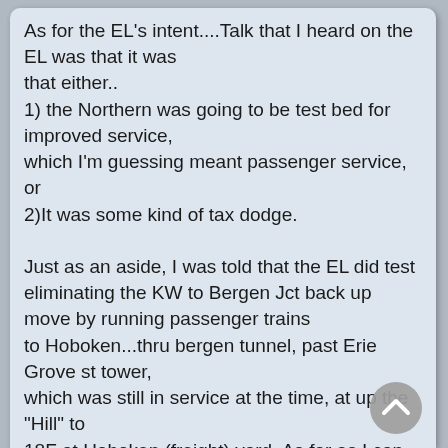As for the EL's intent....Talk that I heard on the EL was that it was that either..
1) the Northern was going to be test bed for improved service,
which I'm guessing meant passenger service, or
2)It was some kind of tax dodge.

Just as an aside, I was told that the EL did test eliminating the KW to Bergen Jct back up move by running passenger trains
to Hoboken...thru bergen tunnel, past Erie Grove st tower,
which was still in service at the time, at up the "Hill" to
18F at Hoboken (freight) yard. As far as I can tell, this still might have
involved at backup move of 1 train length at the top of the hill;
IDS...